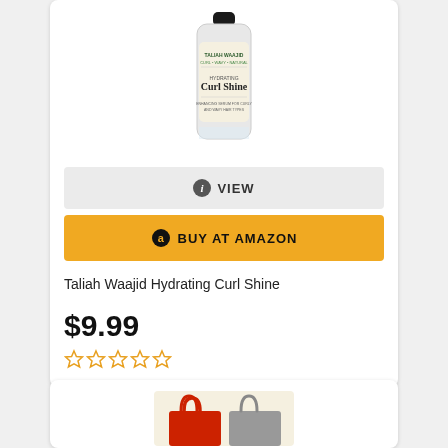[Figure (photo): Product photo of Taliah Waajid Hydrating Curl Shine bottle with black cap]
VIEW
BUY AT AMAZON
Taliah Waajid Hydrating Curl Shine
$9.99
[Figure (other): Star rating: 0 out of 5 stars (empty stars)]
[Figure (photo): Shopping bags illustration — one red, one grey]